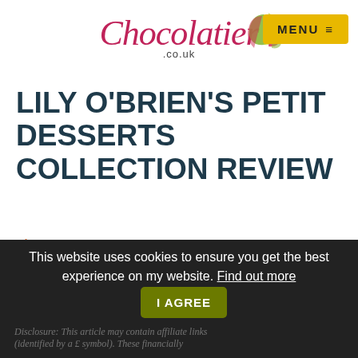Chocolatier.co.uk — logo and MENU button
LILY O'BRIEN'S PETIT DESSERTS COLLECTION REVIEW
Chocolatier.co.uk > Chocolate Reviews > Lily O'Brien's Petit Desserts Collection Review
David Fiske  24th August 2020
Chocolate Reviews  Comments
This website uses cookies to ensure you get the best experience on my website. Find out more  I AGREE
Disclosure: This article may contain affiliate links (identified by a £ symbol). These financially...